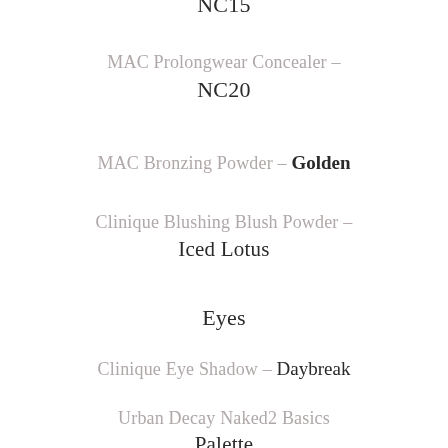NC15
MAC Prolongwear Concealer – NC20
MAC Bronzing Powder – Golden
Clinique Blushing Blush Powder – Iced Lotus
Eyes
Clinique Eye Shadow – Daybreak
Urban Decay Naked2 Basics Palette